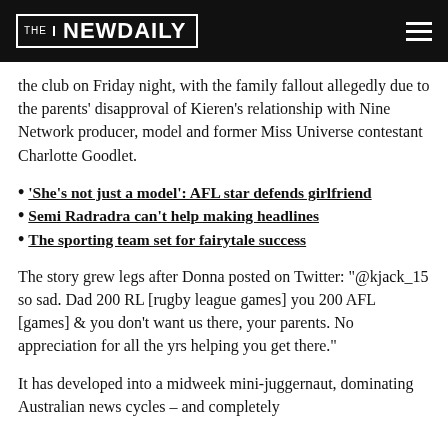THE NEW DAILY
the club on Friday night, with the family fallout allegedly due to the parents' disapproval of Kieren's relationship with Nine Network producer, model and former Miss Universe contestant Charlotte Goodlet.
'She's not just a model': AFL star defends girlfriend
Semi Radradra can't help making headlines
The sporting team set for fairytale success
The story grew legs after Donna posted on Twitter: "@kjack_15 so sad. Dad 200 RL [rugby league games] you 200 AFL [games] & you don't want us there, your parents. No appreciation for all the yrs helping you get there."
It has developed into a midweek mini-juggernaut, dominating Australian news cycles – and completely